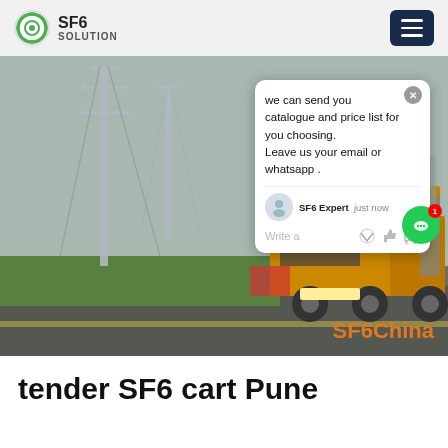SF6 SOLUTION
[Figure (photo): A yellow truck with open cargo area parked at an electrical substation with tall metal pylons and green grass. A chat popup overlay is visible on the right side of the image. The image has a watermark 'SF6China' in orange at the bottom right.]
tender SF6 cart Pune